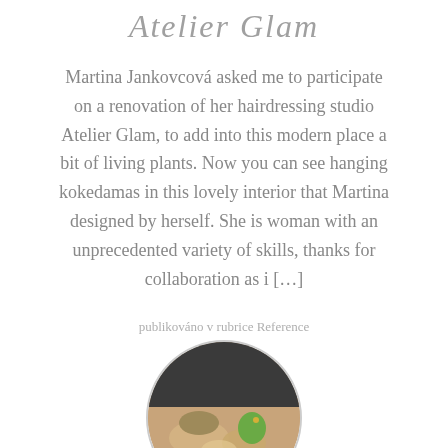Atelier Glam
Martina Jankovcová asked me to participate on a renovation of her hairdressing studio Atelier Glam, to add into this modern place a bit of living plants. Now you can see hanging kokedamas in this lovely interior that Martina designed by herself. She is woman with an unprecedented variety of skills, thanks for collaboration as i […]
publikováno v rubrice Reference
1. 10. 2016
[Figure (photo): Circular cropped photo showing craft/food materials including what appears to be a green apple, moss, and various natural materials on a wooden surface]